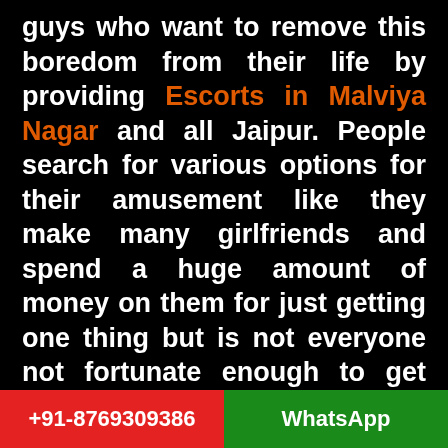guys who want to remove this boredom from their life by providing Escorts in Malviya Nagar and all Jaipur. People search for various options for their amusement like they make many girlfriends and spend a huge amount of money on them for just getting one thing but is not everyone not fortunate enough to get what they want.
MALVIYA NAGAR CALL GIRLS FOR EXTRA FUN IN BORING LIFE
Malviya Nagar Escorts Service helping peoples for getting this problem solved by providing various International and national
+91-8769309386   WhatsApp